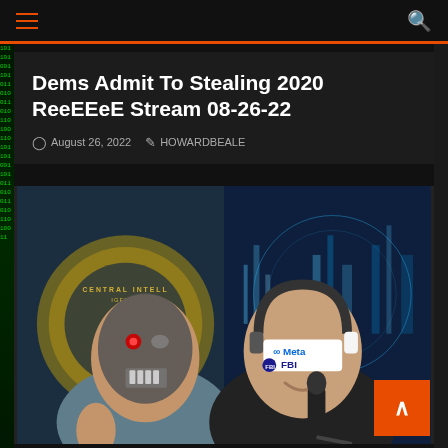Navigation bar with hamburger menu and search icon
Dems Admit To Stealing 2020 ReeEEeE Stream 08-26-22
August 26, 2022  HOWARDBEALE
[Figure (photo): Two men posing and smiling. The man on the left has a robotic/Terminator face overlay. The man on the right wears headphones and has a blindfold reading 'Meta FBI'. Background shows a CIA seal on the left and a futuristic cityscape on the right.]